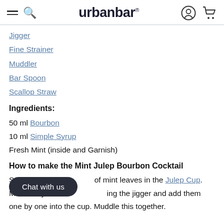urban bar
Jigger
Fine Strainer
Muddler
Bar Spoon
Scallop Straw
Ingredients:
50 ml Bourbon
10 ml Simple Syrup
Fresh Mint (inside and Garnish)
How to make the Mint Julep Bourbon Cocktail
St... of mint leaves in the Julep Cup. Measure your... ing the jigger and add them one by one into the cup. Muddle this together.